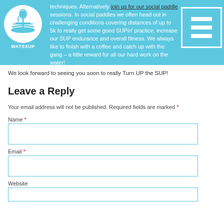techniques. Alternatively join us for our social paddle sessions. In social paddles we often head out in challenging conditions covering distances of up to 5k to really get some good SUPin' practice, increase our SUP endurance and overall fitness. We always like to finish with a coffee and catch up with the gang – a little reward for all our hard work on the water!
We look forward to seeing you soon to really Turn UP the SUP!
Leave a Reply
Your email address will not be published. Required fields are marked *
Name *
Email *
Website